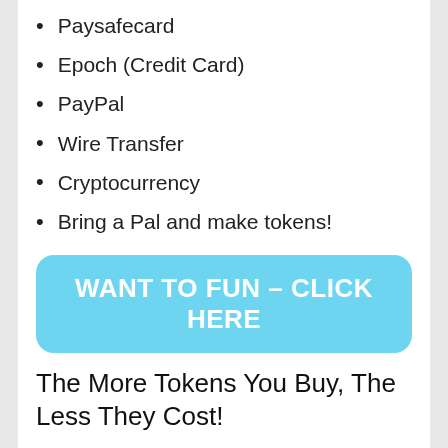Paysafecard
Epoch (Credit Card)
PayPal
Wire Transfer
Cryptocurrency
Bring a Pal and make tokens!
WANT TO FUN – CLICK HERE
The More Tokens You Buy, The Less They Cost!
200 tokens FREE! (a $20.99 USD value) when you upgrade your